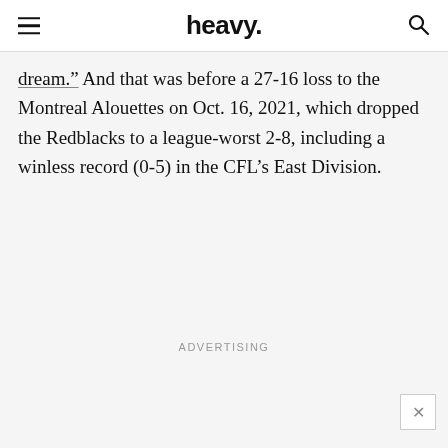heavy.
dream.” And that was before a 27-16 loss to the Montreal Alouettes on Oct. 16, 2021, which dropped the Redblacks to a league-worst 2-8, including a winless record (0-5) in the CFL’s East Division.
ADVERTISING